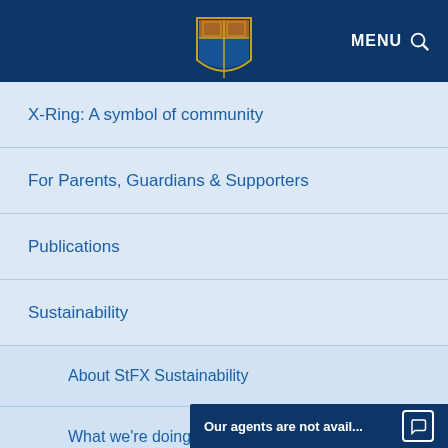MENU
X-Ring: A symbol of community
For Parents, Guardians & Supporters
Publications
Sustainability
About StFX Sustainability
What we're doing
Energy Smart
Our agents are not avail...